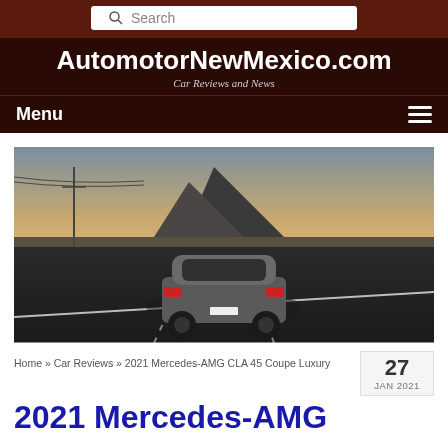Search
AutomotorNewMexico.com
Car Reviews and News
Menu
[Figure (photo): Rear view of a grey Mercedes-AMG CLA 45 Coupe driving on a highway with a large rocky mountain in the background at sunset]
Home » Car Reviews » 2021 Mercedes-AMG CLA 45 Coupe Luxury
27
JAN 2021
2021 Mercedes-AMG